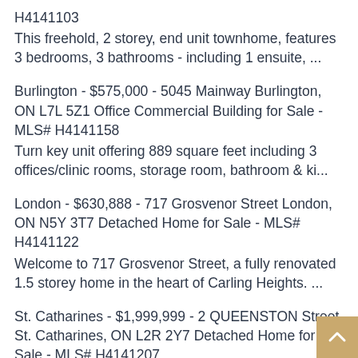H4141103
This freehold, 2 storey, end unit townhome, features 3 bedrooms, 3 bathrooms - including 1 ensuite, ...
Burlington - $575,000 - 5045 Mainway Burlington, ON L7L 5Z1 Office Commercial Building for Sale - MLS# H4141158
Turn key unit offering 889 square feet including 3 offices/clinic rooms, storage room, bathroom & ki...
London - $630,888 - 717 Grosvenor Street London, ON N5Y 3T7 Detached Home for Sale - MLS# H4141122
Welcome to 717 Grosvenor Street, a fully renovated 1.5 storey home in the heart of Carling Heights. ...
St. Catharines - $1,999,999 - 2 QUEENSTON Street St. Catharines, ON L2R 2Y7 Detached Home for Sale - MLS# H4141207
10-unit building ready for you to choose your own